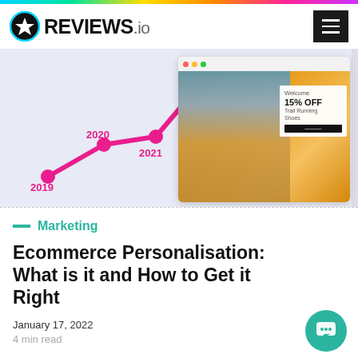REVIEWS.io
[Figure (screenshot): Hero infographic image showing a pink line chart trend from 2019 to 2022, overlaid with a browser window mockup showing a running shoe ad with '15% OFF Trail Running Shoes', on a lavender background.]
— Marketing
Ecommerce Personalisation: What is it and How to Get it Right
January 17, 2022
4 min read